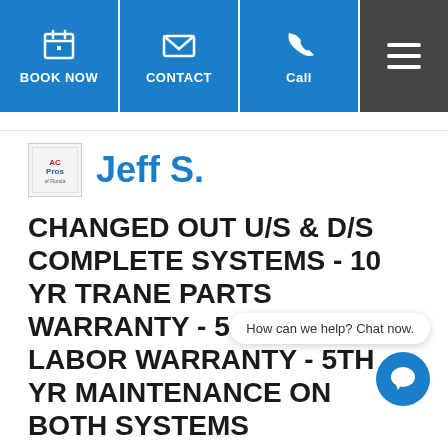BOOK NOW | CONTACT | Call | (menu)
Jeff S.
CHANGED OUT U/S & D/S COMPLETE SYSTEMS - 10 YR TRANE PARTS WARRANTY - 5 YR DEALER LABOR WARRANTY - 5TH YR MAINTENANCE ON BOTH SYSTEMS